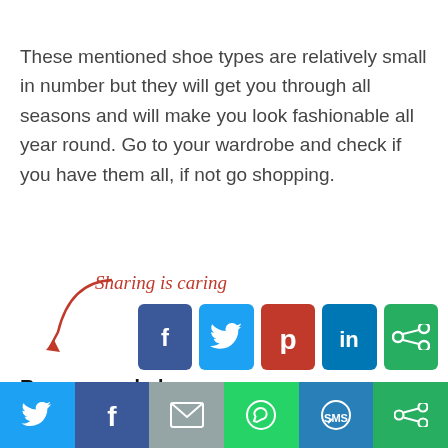These mentioned shoe types are relatively small in number but they will get you through all seasons and will make you look fashionable all year round. Go to your wardrobe and check if you have them all, if not go shopping.
[Figure (infographic): Sharing is caring label with a red arrow and social media share buttons: Facebook, Twitter, Pinterest, LinkedIn, and a share/more button]
Recommended
[Figure (infographic): Bottom sharing bar with Twitter, Facebook, Email, WhatsApp, SMS, and More icon buttons]